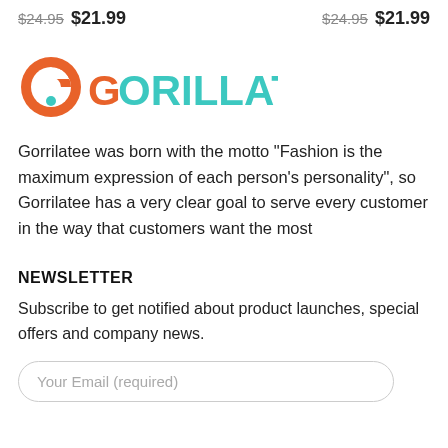$24.95  $21.99    $24.95  $21.99
[Figure (logo): GoRILLATEE logo with orange gorilla head icon and teal text]
Gorrilatee was born with the motto "Fashion is the maximum expression of each person's personality", so Gorrilatee has a very clear goal to serve every customer in the way that customers want the most
NEWSLETTER
Subscribe to get notified about product launches, special offers and company news.
Your Email (required)